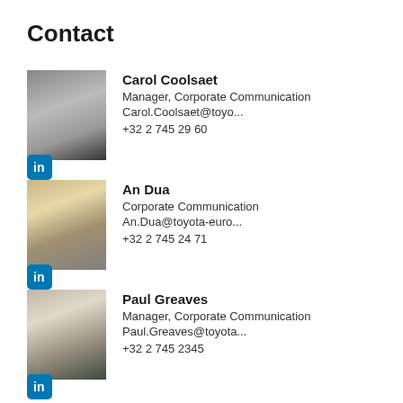Contact
Carol Coolsaet
Manager, Corporate Communication
Carol.Coolsaet@toyo...
+32 2 745 29 60
[Figure (photo): Headshot photo of Carol Coolsaet]
[Figure (logo): LinkedIn icon badge]
An Dua
Corporate Communication
An.Dua@toyota-euro...
+32 2 745 24 71
[Figure (photo): Headshot photo of An Dua]
[Figure (logo): LinkedIn icon badge]
Paul Greaves
Manager, Corporate Communication
Paul.Greaves@toyota...
+32 2 745 2345
[Figure (photo): Headshot photo of Paul Greaves]
[Figure (logo): LinkedIn icon badge]